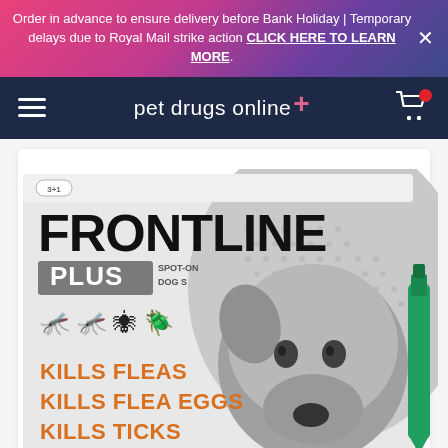Order in advance to ensure delivery before Bank Holiday | Temporary delays due to Royal Mail strike action CLICK HERE TO LEARN MORE.
[Figure (screenshot): Pet Drugs Online website navigation bar with hamburger menu on left, 'pet drugs online+' logo in centre on dark navy background, and cart icon with red badge on right]
[Figure (photo): Frontline Plus Spot-On Dog S product box showing a dachshund dog in black and white, with text FRONTLINE PLUS SPOT-ON DOG S, insect icons, and orange text reading KILLS FLEAS, KILLS FLEA EGGS, KILLS TICKS. A green applicator pipette is visible on the right side.]